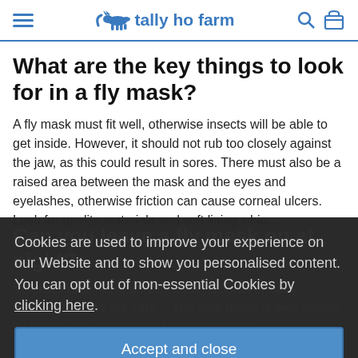tally ho farm
What are the key things to look for in a fly mask?
A fly mask must fit well, otherwise insects will be able to get inside. However, it should not rub too closely against the jaw, as this could result in sores. There must also be a raised area between the mask and the eyes and eyelashes, otherwise friction can cause corneal ulcers. Look for quality materials and soft lining which...
Can you leave a fly mask on at night?
It's best not to leave a fly mask on a horse or pony overnight... they are safe... The year horse is best served by having maximum use of their peripheral...
Cookies are used to improve your experience on our Website and to show you personalised content. You can opt out of non-essential Cookies by clicking here.
Accept and close